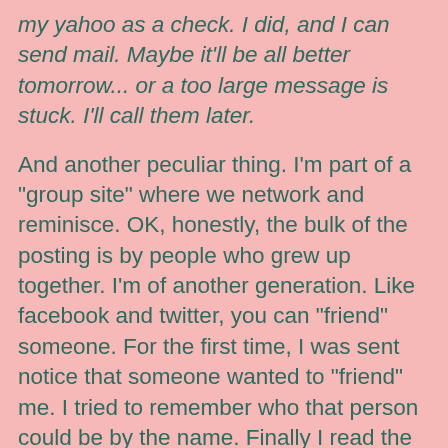my yahoo as a check. I did, and I can send mail. Maybe it'll be all better tomorrow... or a too large message is stuck. I'll call them later.
And another peculiar thing. I'm part of a "group site" where we network and reminisce. OK, honestly, the bulk of the posting is by people who grew up together. I'm of another generation. Like facebook and twitter, you can "friend" someone. For the first time, I was sent notice that someone wanted to "friend" me. I tried to remember who that person could be by the name. Finally I read the message... you guessed it, spam had gotten into the group site. So I started a "discussion" and asked the "owner" to delete that name.
Maybe I should just step away and do some...